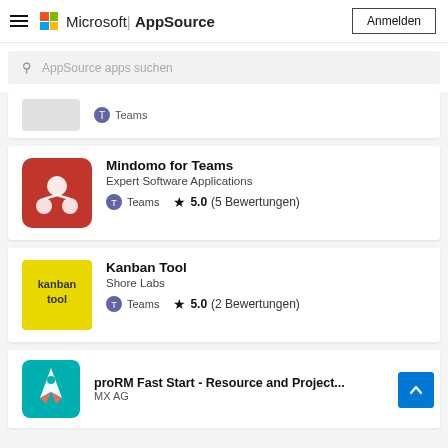Microsoft AppSource — Anmelden
AppSource apps suchen
Teams (partial card)
Mindomo for Teams
Expert Software Applications
Teams ★ 5.0 (5 Bewertungen)
Kanban Tool
Shore Labs
Teams ★ 5.0 (2 Bewertungen)
proRM Fast Start - Resource and Project...
MY AG